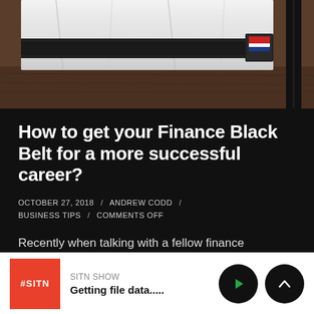[Figure (photo): Close-up photo of martial arts black belt uniform/gi with black belt, on a dark wooden surface background]
How to get your Finance Black Belt for a more successful career?
OCTOBER 27, 2018 / ANDREW CODD / BUSINESS TIPS / COMMENTS OFF
Recently when talking with a fellow finance professional our conversation switched over to which martial arts style is best? Which is
SITN SHOW
Getting file data.....